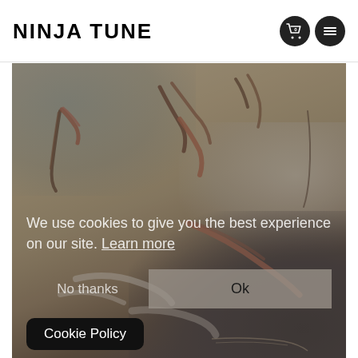NINJA TUNE
[Figure (photo): Abstract artistic image with dark brushstroke marks against a warm beige/tan background blending into dark navy/black in the lower right. Red/rust colored fluid paint strokes scattered across upper portion.]
We use cookies to give you the best experience on our site. Learn more
No thanks   Ok
Cookie Policy